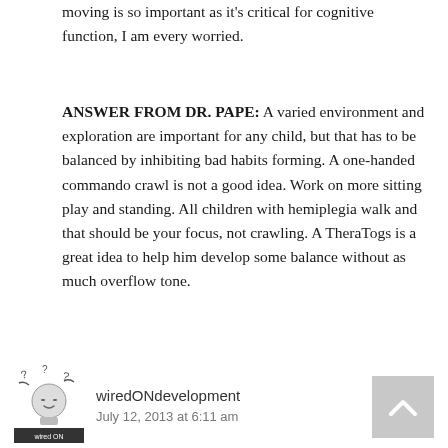moving is so important as it's critical for cognitive function, I am every worried.
ANSWER FROM DR. PAPE: A varied environment and exploration are important for any child, but that has to be balanced by inhibiting bad habits forming. A one-handed commando crawl is not a good idea. Work on more sitting play and standing. All children with hemiplegia walk and that should be your focus, not crawling. A TheraTogs is a great idea to help him develop some balance without as much overflow tone.
[Figure (illustration): Small cartoon avatar illustration of a person with question marks, used as commenter profile image for wiredONdevelopment]
wiredONdevelopment
July 12, 2013 at 6:11 am